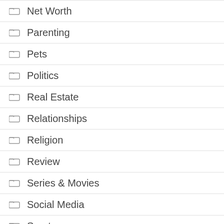Net Worth
Parenting
Pets
Politics
Real Estate
Relationships
Religion
Review
Series & Movies
Social Media
Sport
Style
Technology
Tip & Tricks